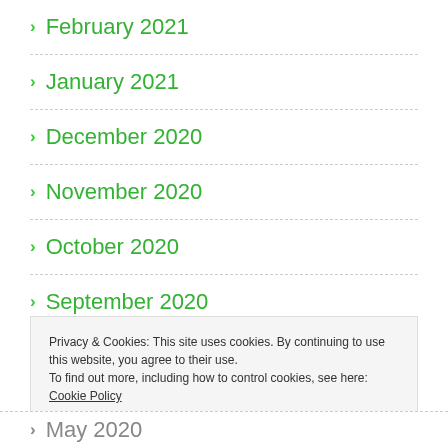February 2021
January 2021
December 2020
November 2020
October 2020
September 2020
August 2020
Privacy & Cookies: This site uses cookies. By continuing to use this website, you agree to their use.
To find out more, including how to control cookies, see here: Cookie Policy
May 2020